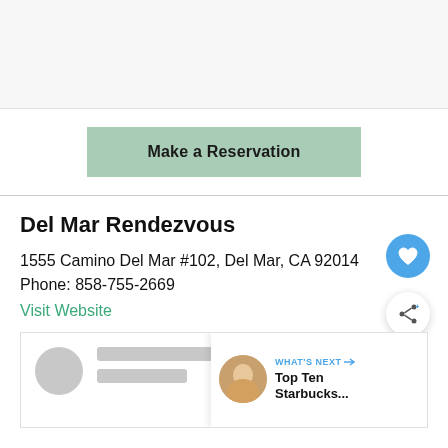[Figure (screenshot): Top grey section placeholder area]
Make a Reservation
Del Mar Rendezvous
1555 Camino Del Mar #102, Del Mar, CA 92014
Phone: 858-755-2669
Visit Website
[Figure (screenshot): Bottom content preview with avatar placeholder and What's Next overlay showing Top Ten Starbucks...]